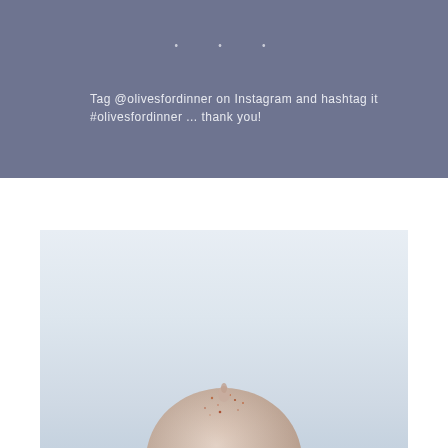• • •
Tag @olivesfordinner on Instagram and hashtag it #olivesfordinner ... thank you!
[Figure (photo): Food photography showing a round ball-shaped food item with spices (possibly a falafel or energy ball) dusted with reddish-brown spice, photographed against a light blue-grey gradient background.]